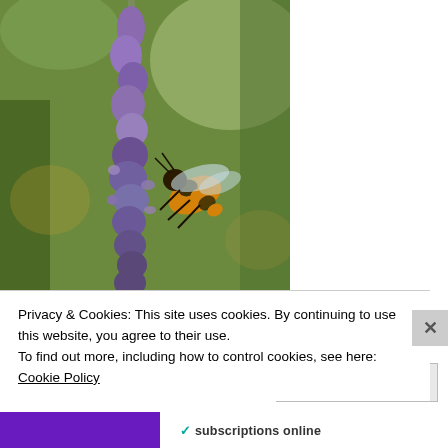[Figure (photo): Close-up photo of a honeybee on a lavender flower spike with green blurred background]
Privacy & Cookies: This site uses cookies. By continuing to use this website, you agree to their use.
To find out more, including how to control cookies, see here: Cookie Policy
Close and accept
subscriptions online